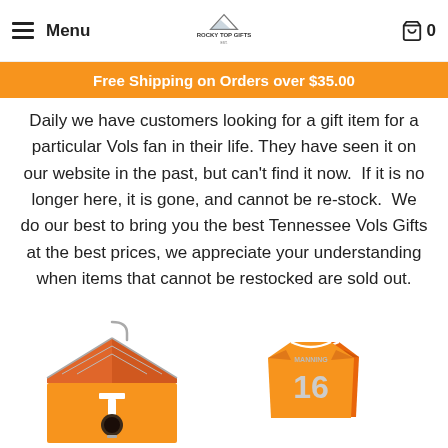Menu | Rocky Top Gifts | Cart 0
Free Shipping on Orders over $35.00
Daily we have customers looking for a gift item for a particular Vols fan in their life. They have seen it on our website in the past, but can't find it now. If it is no longer here, it is gone, and cannot be re-stock. We do our best to bring you the best Tennessee Vols Gifts at the best prices, we appreciate your understanding when items that cannot be restocked are sold out.
[Figure (photo): Tennessee Volunteers orange birdhouse with a T logo]
[Figure (photo): Two orange Men's Tennessee Volunteers Peyton Manning #16 jerseys]
Men's Tennessee Volunteers Peyton Manning #16 Orange